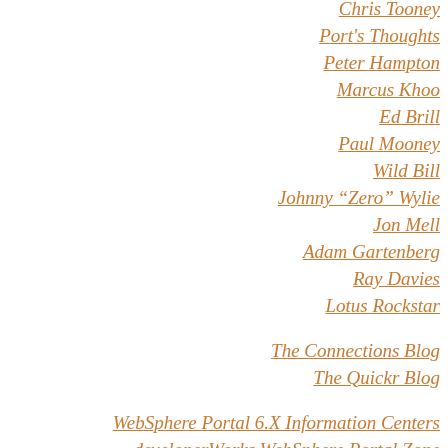Chris Tooney
Port's Thoughts
Peter Hampton
Marcus Khoo
Ed Brill
Paul Mooney
Wild Bill
Johnny "Zero" Wylie
Jon Mell
Adam Gartenberg
Ray Davies
Lotus Rockstar
The Connections Blog
The Quickr Blog
WebSphere Portal 6.X Information Centers
developerWorks WebSphere Portal Zone
WebSphere Portal Family Wiki
WebSphere Portlet Factory Wiki
Lotus Connections Documentation
developerWorks Lotus Connections Zone
Lotus Connections Wiki
Hursley IIC Events